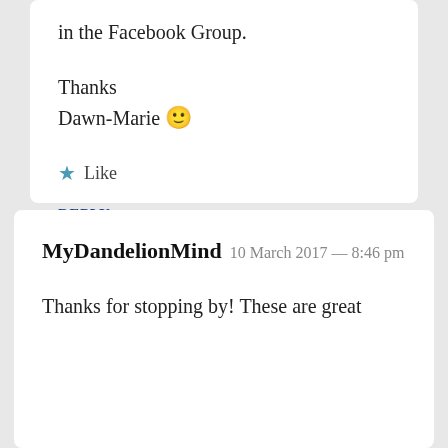in the Facebook Group.
Thanks
Dawn-Marie 🙂
★ Like
REPLY
MyDandelionMind 10 March 2017 — 8:46 pm
Thanks for stopping by! These are great